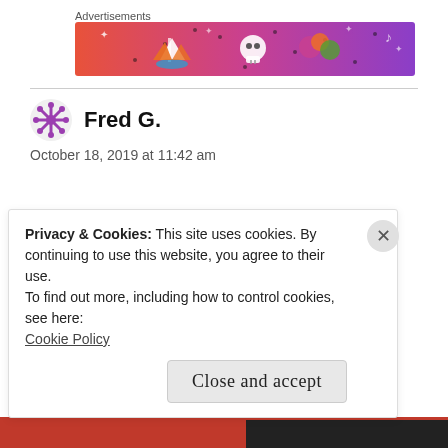Advertisements
[Figure (illustration): Colorful advertisement banner with gradient from orange-red to purple, featuring cartoon illustrations of a sailboat, skull, dice/flowers, and decorative elements like stars and music notes on a dark patterned background.]
Fred G.
October 18, 2019 at 11:42 am
Privacy & Cookies: This site uses cookies. By continuing to use this website, you agree to their use.
To find out more, including how to control cookies, see here:
Cookie Policy
Close and accept